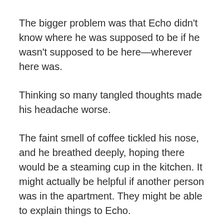The bigger problem was that Echo didn't know where he was supposed to be if he wasn't supposed to be here—wherever here was.
Thinking so many tangled thoughts made his headache worse.
The faint smell of coffee tickled his nose, and he breathed deeply, hoping there would be a steaming cup in the kitchen. It might actually be helpful if another person was in the apartment. They might be able to explain things to Echo.
He wandered down the hall, checking the other rooms. The master bedroom was huge, but just like the small room he'd come from, it had limited